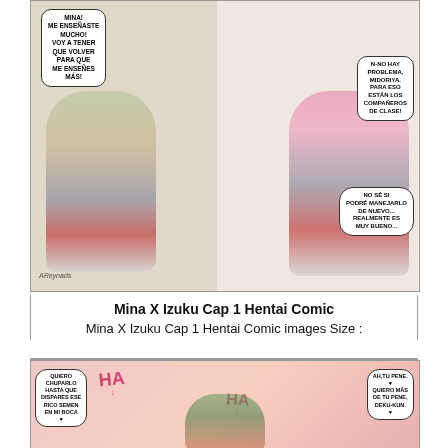[Figure (illustration): Manga/anime style comic panel showing two characters in school uniforms. Left panel: a green-haired boy with speech bubble in Spanish reading 'MINA! ME ENSEÑASTE MUCHO! VOY A TENER QUE VOLVER PARA QUE ME ENSEÑES MÁS!'. Right panel: a pink-haired girl character with speech bubbles in Spanish reading 'N-NO HAY PROBLEMA, MIDORIYA. PARA ESO ESTÁN LOS COMPAÑEROS DE CLASE!' and 'NO SÉ SI PODRÉ MANEJARLO DE NUEVO... REALMENTE ES MUY BUENO...'. Artist watermark 'AReynads.' in bottom left.]
Mina X Izuku Cap 1 Hentai Comic
Mina X Izuku Cap 1 Hentai Comic images Size :
[Figure (illustration): Manga/anime style adult comic panel with a large pink-skinned character and a green-haired character. Contains text 'HA' in pink twice with downward arrows. Speech bubble left reads 'QUIERO CHUPARLO HASTA QUE DISPARES ESE RICO SEMEN EN MI BOCA'. Speech bubble right reads 'AH, TU PENE. QUIERO MÁS DE TU PENE, DEKU-KUN.']